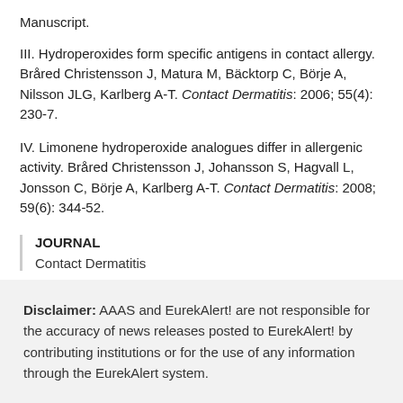Manuscript.
III. Hydroperoxides form specific antigens in contact allergy. Bråred Christensson J, Matura M, Bäcktorp C, Börje A, Nilsson JLG, Karlberg A-T. Contact Dermatitis: 2006; 55(4): 230-7.
IV. Limonene hydroperoxide analogues differ in allergenic activity. Bråred Christensson J, Johansson S, Hagvall L, Jonsson C, Börje A, Karlberg A-T. Contact Dermatitis: 2008; 59(6): 344-52.
JOURNAL
Contact Dermatitis
Disclaimer: AAAS and EurekAlert! are not responsible for the accuracy of news releases posted to EurekAlert! by contributing institutions or for the use of any information through the EurekAlert system.